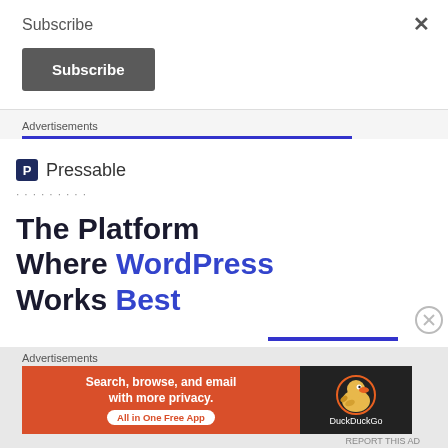Subscribe
Subscribe
Advertisements
[Figure (illustration): Pressable advertisement with logo, dots, and headline 'The Platform Where WordPress Works Best' in dark navy and blue text]
Advertisements
[Figure (illustration): DuckDuckGo banner ad: orange section 'Search, browse, and email with more privacy. All in One Free App' and dark section with DuckDuckGo duck logo]